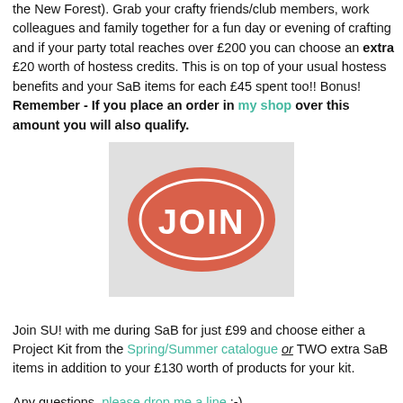the New Forest). Grab your crafty friends/club members, work colleagues and family together for a fun day or evening of crafting and if your party total reaches over £200 you can choose an extra £20 worth of hostess credits. This is on top of your usual hostess benefits and your SaB items for each £45 spent too!! Bonus!  Remember - If you place an order in my shop over this amount you will also qualify.
[Figure (illustration): A red/coral oval button graphic with the word JOIN written in white stylized text, on a light gray background rectangle.]
Join SU! with me during SaB for just £99 and choose either a Project Kit from the Spring/Summer catalogue or TWO extra SaB items in addition to your £130 worth of products for your kit.
Any questions, please drop me a line :-)